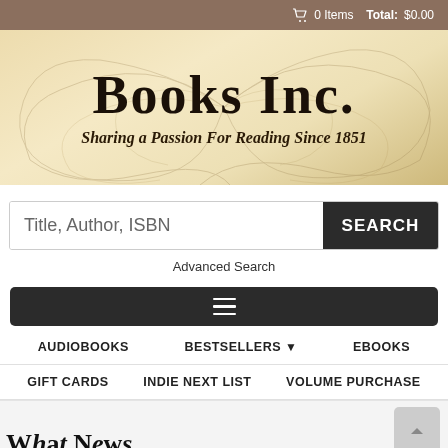0 Items  Total: $0.00
[Figure (logo): Books Inc. logo banner with decorative swirl background. Text reads 'Books Inc.' with subtitle 'Sharing a Passion For Reading Since 1851']
Title, Author, ISBN
SEARCH
Advanced Search
[Figure (other): Dark hamburger menu bar with three horizontal lines]
AUDIOBOOKS
BESTSELLERS ▾
EBOOKS
GIFT CARDS
INDIE NEXT LIST
VOLUME PURCHASE